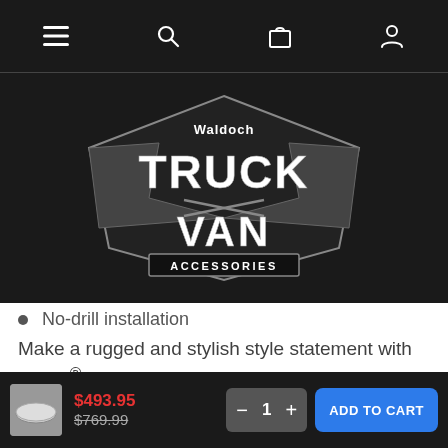[Figure (screenshot): Mobile website navigation bar with hamburger menu, search, cart, and user account icons on dark background]
[Figure (logo): Waldoch Truck & Van Accessories logo — white and grey lettering on dark background]
No-drill installation
Make a rugged and stylish style statement with LUND® 6 In. oval nerf bars. These bars feature a solid construction, 6 In. OE straight style with an extra-wide, recessed step area for sure footing and look great on larger pick-up trucks and full-sized SUVs. Choose from
[Figure (screenshot): Bottom add-to-cart bar showing product thumbnail, sale price $493.95 (original $769.99), quantity selector, and ADD TO CART button]